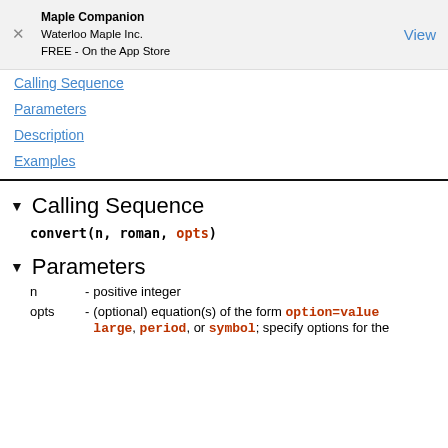Maple Companion
Waterloo Maple Inc.
FREE - On the App Store
Calling Sequence
Parameters
Description
Examples
Calling Sequence
convert(n, roman, opts)
Parameters
n      - positive integer
opts - (optional) equation(s) of the form option=value; large, period, or symbol; specify options for the